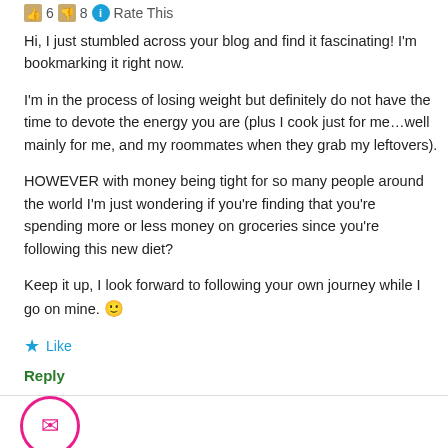👍 6 👎 8 ℹ Rate This
Hi, I just stumbled across your blog and find it fascinating! I'm bookmarking it right now.

I'm in the process of losing weight but definitely do not have the time to devote the energy you are (plus I cook just for me…well mainly for me, and my roommates when they grab my leftovers).

HOWEVER with money being tight for so many people around the world I'm just wondering if you're finding that you're spending more or less money on groceries since you're following this new diet?

Keep it up, I look forward to following your own journey while I go on mine. 🙂
Like
Reply